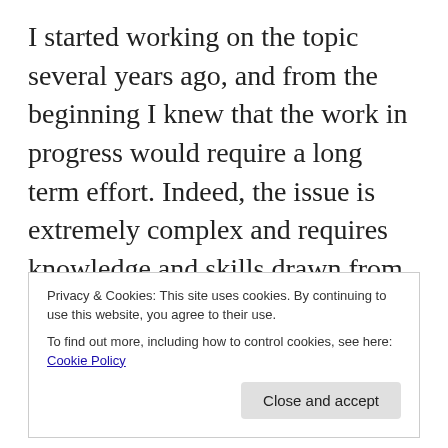I started working on the topic several years ago, and from the beginning I knew that the work in progress would require a long term effort. Indeed, the issue is extremely complex and requires knowledge and skills drawn from different disciplines to better understand what it is to be a woman and how and why of our current social situation: genetics, anthropology, sociology, biology, history, economics. That may
Privacy & Cookies: This site uses cookies. By continuing to use this website, you agree to their use.
To find out more, including how to control cookies, see here: Cookie Policy
[Close and accept]
researchers who worked on the related